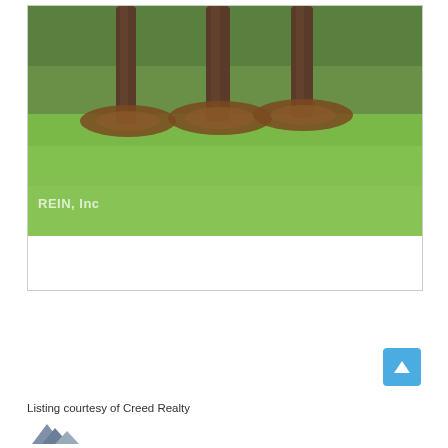[Figure (photo): Outdoor lawn photo showing three large tree trunks with mulch at their bases surrounded by a well-maintained green lawn. A watermark reading 'REIN, Inc' appears in the lower left of the photo.]
Listing courtesy of Creed Realty
[Figure (logo): Creed Realty logo — stylized mountain/house shapes in blue-grey tones]